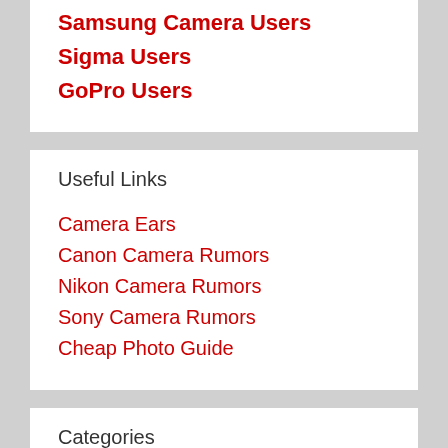Samsung Camera Users
Sigma Users
GoPro Users
Useful Links
Camera Ears
Canon Camera Rumors
Nikon Camera Rumors
Sony Camera Rumors
Cheap Photo Guide
Categories